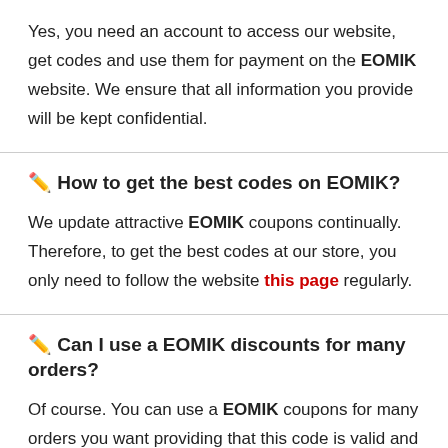Yes, you need an account to access our website, get codes and use them for payment on the EOMIK website. We ensure that all information you provide will be kept confidential.
✏️ How to get the best codes on EOMIK?
We update attractive EOMIK coupons continually. Therefore, to get the best codes at our store, you only need to follow the website this page regularly.
✏️ Can I use a EOMIK discounts for many orders?
Of course. You can use a EOMIK coupons for many orders you want providing that this code is valid and